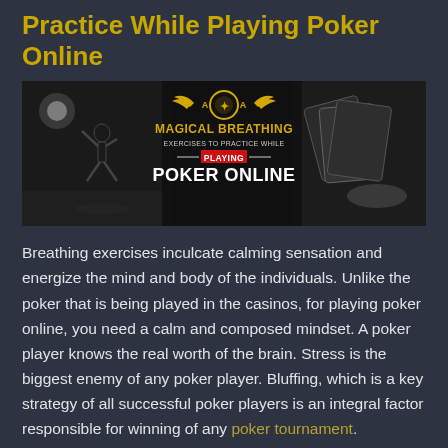Practice While Playing Poker Online
[Figure (illustration): Banner image for 'Magical Breathing Exercises to Practice While Playing Poker Online'. Black and white background showing a silhouette of a person jumping and a person playing cards. Center text reads: MAGICAL BREATHING EXERCISES TO PRACTICE WHILE PLAYING POKER ONLINE. Logo at top center with wings and poker chip motif.]
Breathing exercises inculcate calming sensation and energize the mind and body of the individuals. Unlike the poker that is being played in the casinos, for playing poker online, you need a calm and composed mindset. A poker player knows the real worth of the brain. Stress is the biggest enemy of any poker player. Bluffing, which is a key strategy of all successful poker players is an integral factor responsible for winning of any poker tournament.